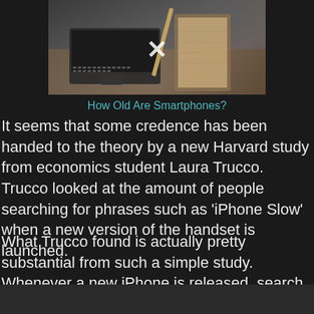[Figure (photo): Photo of a laptop, notebooks, and desk items with a close/X button overlay]
How Old Are Smartphones?
It seems that some credence has been handed to the theory by a new Harvard study from economics student Laura Trucco. Trucco looked at the amount of people searching for phrases such as ‘iPhone Slow’ when a new version of the handset is launched.
What Trucco found is actually pretty substantial from such a simple study. Whenever a new iPhone is released, search phrases relating to slowing down of